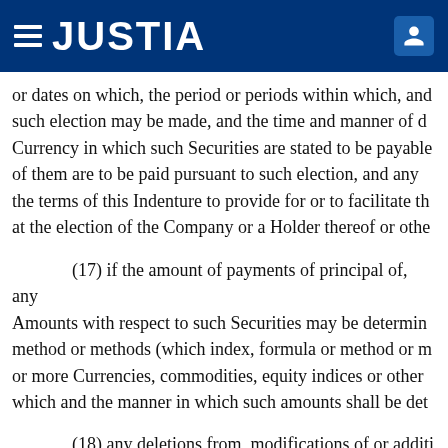JUSTIA
or dates on which, the period or periods within which, and such election may be made, and the time and manner of d Currency in which such Securities are stated to be payable of them are to be paid pursuant to such election, and any the terms of this Indenture to provide for or to facilitate th at the election of the Company or a Holder thereof or othe
(17) if the amount of payments of principal of, any Amounts with respect to such Securities may be determin method or methods (which index, formula or method or m or more Currencies, commodities, equity indices or other which and the manner in which such amounts shall be det
(18) any deletions from, modifications of or additi Company with respect to any of such Securities (whether c consistent with the Events of Default or covenants set fort with respect to any such additional covenants;